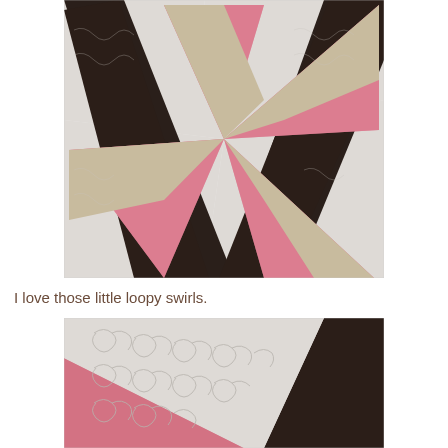[Figure (photo): Close-up photo of a quilt block featuring a pinwheel/star pattern made with pink polka-dot fabric, beige/tan fabric, dark brown/black floral fabric, and white quilted background with loopy swirl quilting pattern.]
I love those little loopy swirls.
[Figure (photo): Close-up detail photo of the same quilt showing the white quilted area with loopy swirl free-motion quilting pattern, with pink polka-dot fabric triangle and dark brown fabric visible at the edges.]